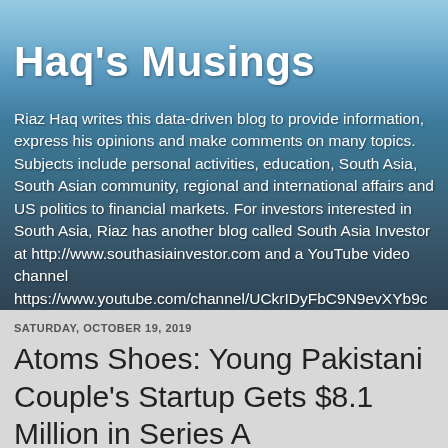Haq's Musings
Riaz Haq writes this data-driven blog to provide information, express his opinions and make comments on many topics. Subjects include personal activities, education, South Asia, South Asian community, regional and international affairs and US politics to financial markets. For investors interested in South Asia, Riaz has another blog called South Asia Investor at http://www.southasiainvestor.com and a YouTube video channel https://www.youtube.com/channel/UCkrIDyFbC9N9evXYb9cA_gQ
SATURDAY, OCTOBER 19, 2019
Atoms Shoes: Young Pakistani Couple's Startup Gets $8.1 Million in Series A